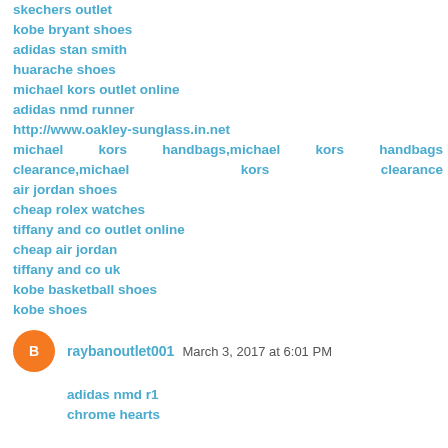skechers outlet
kobe bryant shoes
adidas stan smith
huarache shoes
michael kors outlet online
adidas nmd runner
http://www.oakley-sunglass.in.net
michael kors handbags,michael kors handbags clearance,michael kors clearance
air jordan shoes
cheap rolex watches
tiffany and co outlet online
cheap air jordan
tiffany and co uk
kobe basketball shoes
kobe shoes
Reply
raybanoutlet001  March 3, 2017 at 6:01 PM
adidas nmd r1
chrome hearts